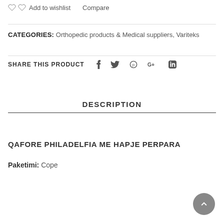Add to wishlist   Compare
CATEGORIES: Orthopedic products & Medical suppliers, Variteks
SHARE THIS PRODUCT   f   Twitter   Pinterest   G+   in
DESCRIPTION
QAFORE PHILADELFIA ME HAPJE PERPARA
Paketimi: Cope